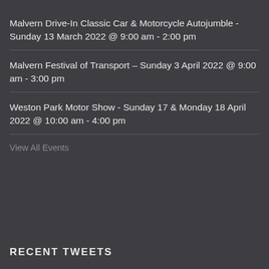Malvern Drive-In Classic Car & Motorcycle Autojumble - Sunday 13 March 2022 @ 9:00 am - 2:00 pm
Malvern Festival of Transport – Sunday 3 April 2022 @ 9:00 am - 3:00 pm
Weston Park Motor Show - Sunday 17 & Monday 18 April 2022 @ 10:00 am - 4:00 pm
View All Events
RECENT TWEETS